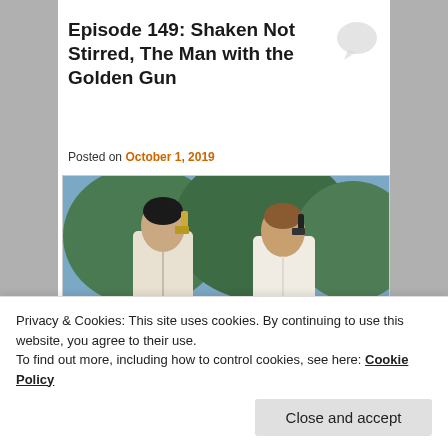Episode 149: Shaken Not Stirred, The Man with the Golden Gun
Posted on October 1, 2019
[Figure (photo): Two men standing back to back outdoors near water and green cliffs, each holding a gun raised — one with a gold gun, one with a dark gun. Scene from The Man with the Golden Gun.]
Privacy & Cookies: This site uses cookies. By continuing to use this website, you agree to their use.
To find out more, including how to control cookies, see here: Cookie Policy
Close and accept